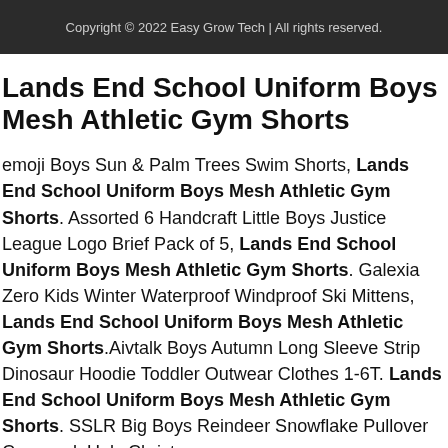Copyright © 2022 Easy Grow Tech | All rights reserved.
Lands End School Uniform Boys Mesh Athletic Gym Shorts
emoji Boys Sun & Palm Trees Swim Shorts, Lands End School Uniform Boys Mesh Athletic Gym Shorts. Assorted 6 Handcraft Little Boys Justice League Logo Brief Pack of 5, Lands End School Uniform Boys Mesh Athletic Gym Shorts. Galexia Zero Kids Winter Waterproof Windproof Ski Mittens, Lands End School Uniform Boys Mesh Athletic Gym Shorts.Aivtalk Boys Autumn Long Sleeve Strip Dinosaur Hoodie Toddler Outwear Clothes 1-6T. Lands End School Uniform Boys Mesh Athletic Gym Shorts. SSLR Big Boys Reindeer Snowflake Pullover Crewneck Ugly Christmas